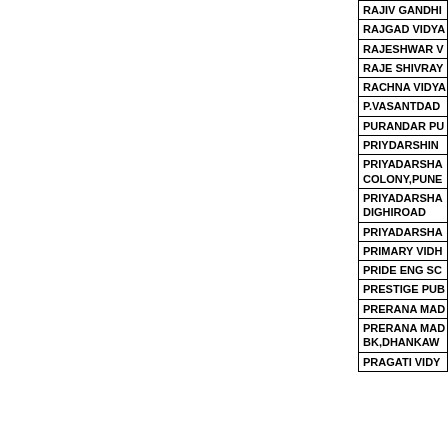| RAJIV GANDHI... |
| RAJGAD VIDYA... |
| RAJESHWAR V... |
| RAJE SHIVRAY... |
| RACHNA VIDYA... |
| P.VASANTDAD... |
| PURANDAR PU... |
| PRIYDARSHIN... |
| PRIYADARSHA... COLONY,PUNE... |
| PRIYADARSHA... DIGHIROAD |
| PRIYADARSHA... |
| PRIMARY VIDH... |
| PRIDE ENG SC... |
| PRESTIGE PUB... |
| PRERANA MAD... |
| PRERANA MAD... BK,DHANKAW... |
| PRAGATI VIDY... |